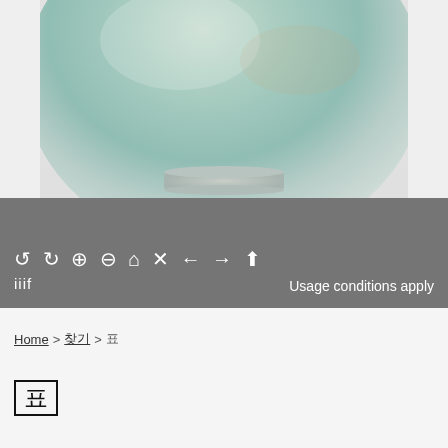[Figure (photo): Close-up photograph of a celadon ceramic bowl with green-grey glaze, showing the lower half of the bowl and its foot ring against a white/light grey background.]
↺ ↻ 🔍+ 🔍- ⌂ ✕ ← → ⬆ IIIF    Usage conditions apply
Home > 찾기 > 표
표